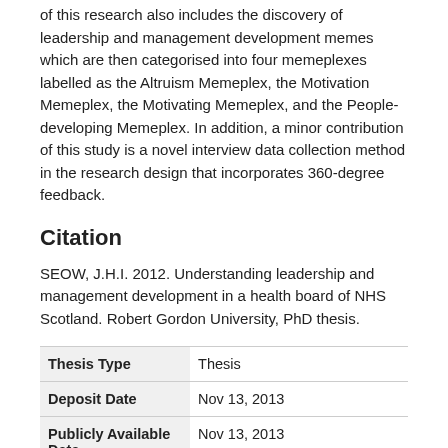of this research also includes the discovery of leadership and management development memes which are then categorised into four memeplexes labelled as the Altruism Memeplex, the Motivation Memeplex, the Motivating Memeplex, and the People-developing Memeplex. In addition, a minor contribution of this study is a novel interview data collection method in the research design that incorporates 360-degree feedback.
Citation
SEOW, J.H.I. 2012. Understanding leadership and management development in a health board of NHS Scotland. Robert Gordon University, PhD thesis.
|  |  |
| --- | --- |
| Thesis Type | Thesis |
| Deposit Date | Nov 13, 2013 |
| Publicly Available Date | Nov 13, 2013 |
| Public URL | http://hdl.handle.net/10059/899 |